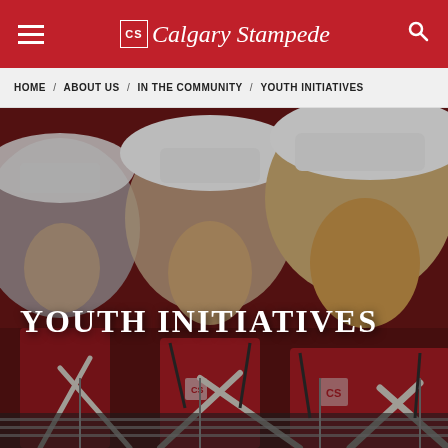Calgary Stampede
HOME / ABOUT US / IN THE COMMUNITY / YOUTH INITIATIVES
[Figure (photo): Group of young people in red Calgary Stampede uniforms and white cowboy hats playing drums in a marching band, shot in close-up with shallow depth of field.]
YOUTH INITIATIVES